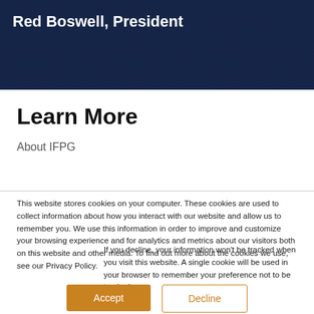Red Boswell, President
Learn More
About IFPG
This website stores cookies on your computer. These cookies are used to collect information about how you interact with our website and allow us to remember you. We use this information in order to improve and customize your browsing experience and for analytics and metrics about our visitors both on this website and other media. To find out more about the cookies we use, see our Privacy Policy.
If you decline, your information won’t be tracked when you visit this website. A single cookie will be used in your browser to remember your preference not to be tracked.